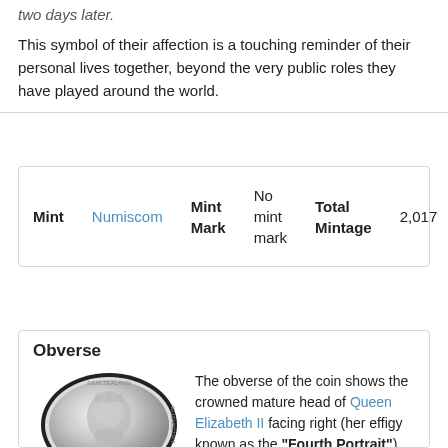two days later.
This symbol of their affection is a touching reminder of their personal lives together, beyond the very public roles they have played around the world.
| Mint | Numiscom | Mint Mark | No mint mark | Total Mintage | 2,017 |
| --- | --- | --- | --- | --- | --- |
Obverse
[Figure (photo): Silver coin showing crowned mature head of Queen Elizabeth II facing right, dated 2017, New Zealand inscription.]
The obverse of the coin shows the crowned mature head of Queen Elizabeth II facing right (her effigy known as the "Fourth Portrait"). The Queen wears the "Girls of Great Britain and Ireland" diamond tiara, a wedding gift from Queen Mary (Her Majesty's